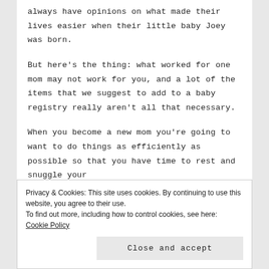always have opinions on what made their lives easier when their little baby Joey was born.
But here's the thing: what worked for one mom may not work for you, and a lot of the items that we suggest to add to a baby registry really aren't all that necessary.
When you become a new mom you're going to want to do things as efficiently as possible so that you have time to rest and snuggle your
Privacy & Cookies: This site uses cookies. By continuing to use this website, you agree to their use.
To find out more, including how to control cookies, see here: Cookie Policy